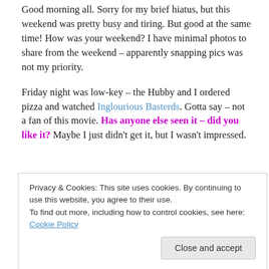Good morning all. Sorry for my brief hiatus, but this weekend was pretty busy and tiring. But good at the same time! How was your weekend? I have minimal photos to share from the weekend – apparently snapping pics was not my priority.
Friday night was low-key – the Hubby and I ordered pizza and watched Inglourious Basterds. Gotta say – not a fan of this movie. Has anyone else seen it – did you like it? Maybe I just didn't get it, but I wasn't impressed.
Saturday was busy with laundry and cleaning and then
Privacy & Cookies: This site uses cookies. By continuing to use this website, you agree to their use.
To find out more, including how to control cookies, see here: Cookie Policy